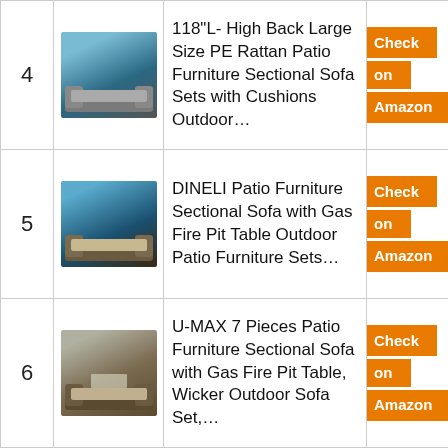| # | Image | Product | Link |
| --- | --- | --- | --- |
| 4 | [image] | 118"L- High Back Large Size PE Rattan Patio Furniture Sectional Sofa Sets with Cushions Outdoor… | Check on Amazon |
| 5 | [image] | DINELI Patio Furniture Sectional Sofa with Gas Fire Pit Table Outdoor Patio Furniture Sets… | Check on Amazon |
| 6 | [image] | U-MAX 7 Pieces Patio Furniture Sectional Sofa with Gas Fire Pit Table, Wicker Outdoor Sofa Set,… | Check on Amazon |